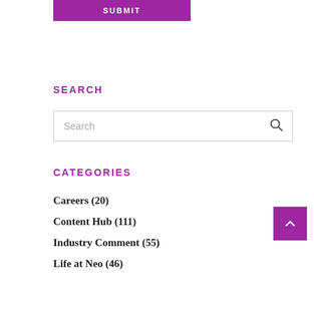SUBMIT
SEARCH
[Figure (other): Search input box with placeholder text 'Search' and magnifying glass icon]
CATEGORIES
Careers (20)
Content Hub (111)
Industry Comment (55)
Life at Neo (46)